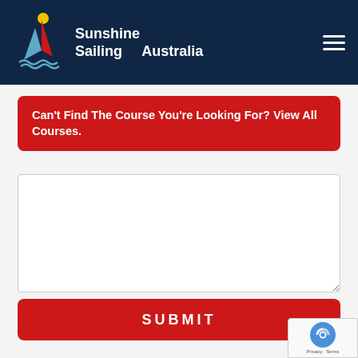[Figure (logo): Sunshine Sailing Australia logo with sailing boat graphic — white text on dark navy background, with hamburger menu icon on the right]
Can't Find The Course You're Looking For? View All Courses.
[Figure (other): Empty white textarea form input field]
SUBMIT
[Figure (other): reCAPTCHA badge with robot icon and Privacy - Terms text]